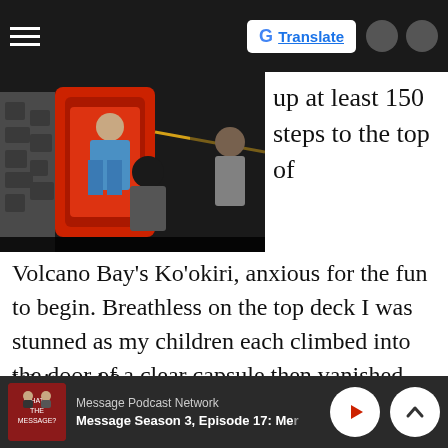[Figure (screenshot): Top navigation bar with hamburger menu on left, Google Translate button on right, dark background]
[Figure (photo): Photo of people climbing into a red slide capsule at a water park]
up at least 150 steps to the top of
Volcano Bay's Ko'okiri, anxious for the fun to begin. Breathless on the top deck I was stunned as my children each climbed into the door of a clear capsule then vanished down the chute.
Wait, wuh?
[Figure (screenshot): Bottom podcast player bar showing Message Podcast Network, Message Season 3 Episode 17, with play and chevron-up buttons]